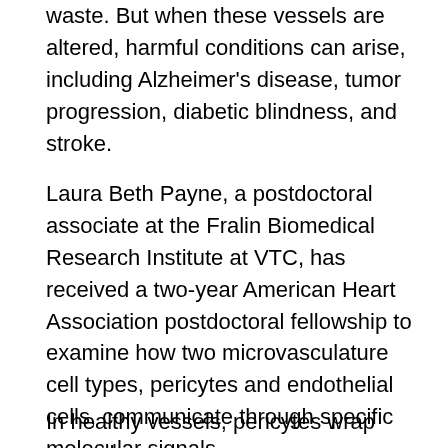waste. But when these vessels are altered, harmful conditions can arise, including Alzheimer's disease, tumor progression, diabetic blindness, and stroke.
Laura Beth Payne, a postdoctoral associate at the Fralin Biomedical Research Institute at VTC, has received a two-year American Heart Association postdoctoral fellowship to examine how two microvasculature cell types, pericytes and endothelial cells, communicate through specific molecular signals.
In healthy vessels, pericytes wrap around